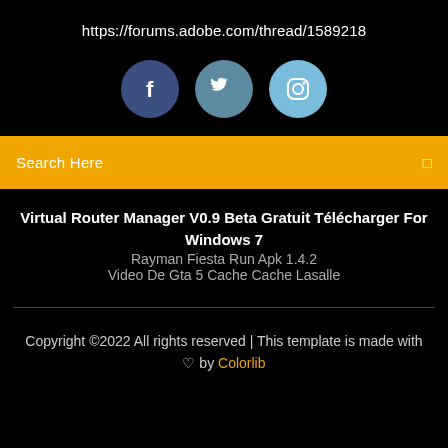https://forums.adobe.com/thread/1589218
[Figure (illustration): Three social media icon circles: Facebook (dark blue), Twitter (medium blue), Instagram (light blue)]
Search Here
Virtual Router Manager V0.9 Beta Gratuit Télécharger For Windows 7
Rayman Fiesta Run Apk 1.4.2
Video De Gta 5 Cache Cache Lasalle
Copyright ©2022 All rights reserved | This template is made with ♡ by Colorlib